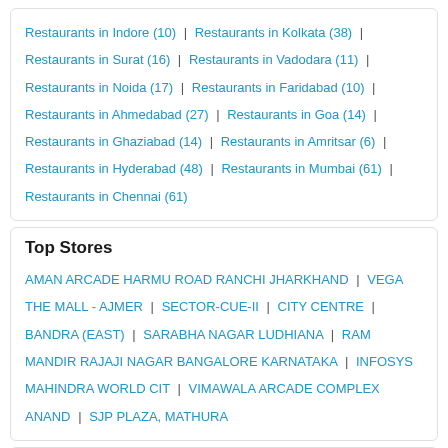Restaurants in Indore (10) | Restaurants in Kolkata (38) | Restaurants in Surat (16) | Restaurants in Vadodara (11) | Restaurants in Noida (17) | Restaurants in Faridabad (10) | Restaurants in Ahmedabad (27) | Restaurants in Goa (14) | Restaurants in Ghaziabad (14) | Restaurants in Amritsar (6) | Restaurants in Hyderabad (48) | Restaurants in Mumbai (61) | Restaurants in Chennai (61)
Top Stores
AMAN ARCADE HARMU ROAD RANCHI JHARKHAND | VEGA THE MALL - AJMER | SECTOR-CUE-II | CITY CENTRE | BANDRA (EAST) | SARABHA NAGAR LUDHIANA | RAM MANDIR RAJAJI NAGAR BANGALORE KARNATAKA | INFOSYS MAHINDRA WORLD CIT | VIMAWALA ARCADE COMPLEX ANAND | SJP PLAZA, MATHURA
All Restaurants In Hosur
KRISHNAGIRI BY PASS ROAD